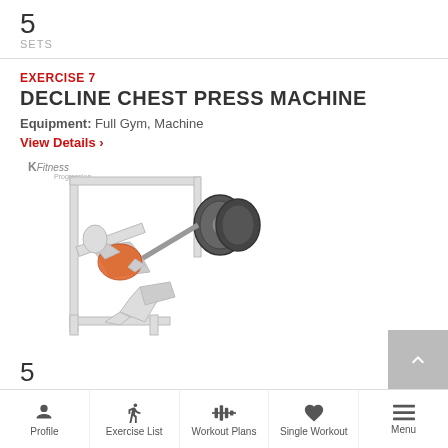5
SETS
EXERCISE 7
DECLINE CHEST PRESS MACHINE
Equipment: Full Gym, Machine
View Details ›
[Figure (illustration): Decline chest press machine exercise illustration showing person seated at a machine with weights, chest muscles highlighted in red/orange. K Fitness logo watermark visible.]
5
Profile | Exercise List | Workout Plans | Single Workout | Menu